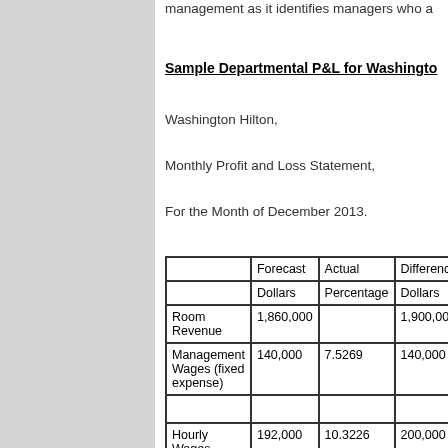management as it identifies managers who a
Sample Departmental P&L for Washingto
Washington Hilton,
Monthly Profit and Loss Statement,
For the Month of December 2013.
|  | Forecast | Actual | Difference/V |  | Dollars | Percentage | Dollars |
| --- | --- | --- | --- | --- | --- | --- | --- |
| Room Revenue | 1,860,000 |  | 1,900,000 |
| Management Wages (fixed expense) | 140,000 | 7.5269 | 140,000 |
|  |  |  |  |
| Hourly Wages (variable expense) | 192,000 | 10.3226 | 200,000 |